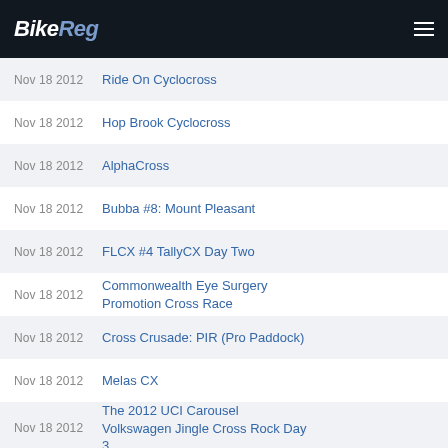BikeReg
Nov 18 2012 | Ride On Cyclocross
Nov 18 2012 | Hop Brook Cyclocross
Nov 18 2012 | AlphaCross
Nov 18 2012 | Bubba #8: Mount Pleasant
Nov 18 2012 | FLCX #4 TallyCX Day Two
Nov 18 2012 | Commonwealth Eye Surgery Promotion Cross Race
Nov 18 2012 | Cross Crusade: PIR (Pro Paddock)
Nov 18 2012 | Melas CX
Nov 18 2012 | The 2012 UCI Carousel Volkswagen Jingle Cross Rock Day 3